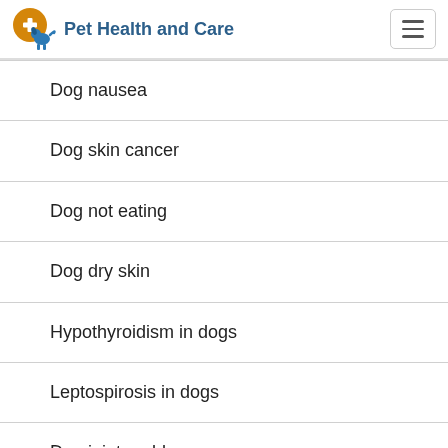Pet Health and Care
Dog nausea
Dog skin cancer
Dog not eating
Dog dry skin
Hypothyroidism in dogs
Leptospirosis in dogs
Dog joint problems